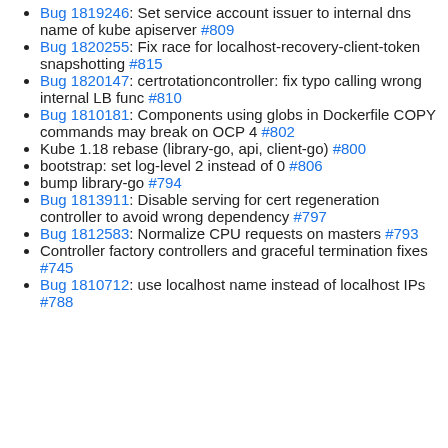Bug 1819246: Set service account issuer to internal dns name of kube apiserver #809
Bug 1820255: Fix race for localhost-recovery-client-token snapshotting #815
Bug 1820147: certrotationcontroller: fix typo calling wrong internal LB func #810
Bug 1810181: Components using globs in Dockerfile COPY commands may break on OCP 4 #802
Kube 1.18 rebase (library-go, api, client-go) #800
bootstrap: set log-level 2 instead of 0 #806
bump library-go #794
Bug 1813911: Disable serving for cert regeneration controller to avoid wrong dependency #797
Bug 1812583: Normalize CPU requests on masters #793
Controller factory controllers and graceful termination fixes #745
Bug 1810712: use localhost name instead of localhost IPs #788